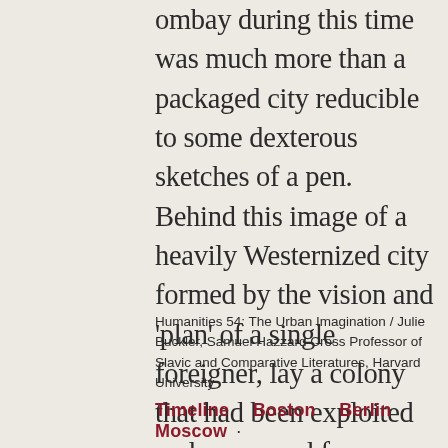ombay during this time was much more than a packaged city reducible to some dexterous sketches of a pen. Behind this image of a heavily Westernized city formed by the vision and 'plan' of a single foreigner, lay a colony that had been exploited and oppressed for centuries, but finally ready to embrace the boiling fervor of an emergent, long-awaited and hard-bought independence that cannot be masked by the misleading fancies of tourism.
Humanities 54: The Urban Imagination / Julie Buckler, Samuel Hazzard Cross Professor of Slavic and Comparative Literatures, Harvard University
Timeline · Boston · Berlin · Moscow ·